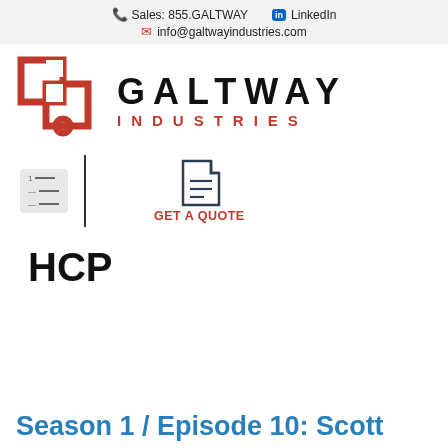Sales: 855.GALTWAY  LinkedIn  info@galtwayindustries.com
[Figure (logo): Galtway Industries logo with red geometric icon and bold black/red text reading GALTWAY INDUSTRIES]
[Figure (infographic): Navigation bar with hamburger menu icon, vertical divider, document/quote icon and GET A QUOTE text in red]
HCP
Season 1 / Episode 10: Scott